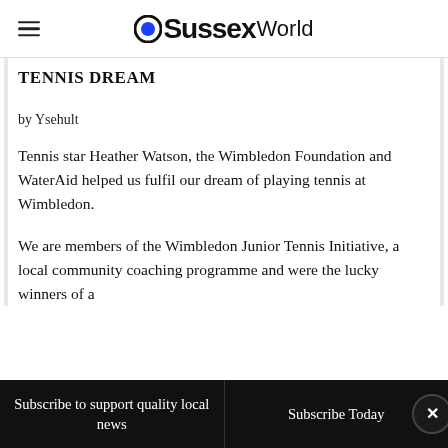OSussexWorld
TENNIS DREAM
by Ysehult
Tennis star Heather Watson, the Wimbledon Foundation and WaterAid helped us fulfil our dream of playing tennis at Wimbledon.
We are members of the Wimbledon Junior Tennis Initiative, a local community coaching programme and were the lucky winners of a
Subscribe to support quality local news | Subscribe Today